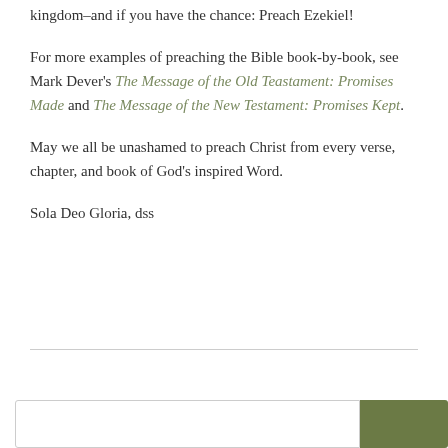kingdom–and if you have the chance: Preach Ezekiel!
For more examples of preaching the Bible book-by-book, see Mark Dever's The Message of the Old Teastament: Promises Made and The Message of the New Testament: Promises Kept.
May we all be unashamed to preach Christ from every verse, chapter, and book of God's inspired Word.
Sola Deo Gloria, dss